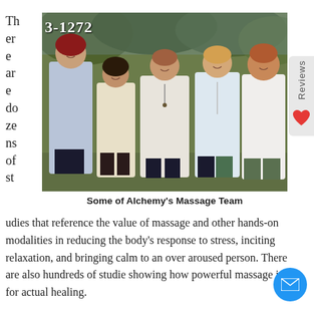There are dozens of st
[Figure (photo): Group photo of five women (Alchemy's Massage Team) standing together outdoors in front of trees, all wearing light-colored tops. A phone number overlay '3-1272' appears at top left of the image.]
Some of Alchemy's Massage Team
udies that reference the value of massage and other hands-on modalities in reducing the body's response to stress, inciting relaxation, and bringing calm to an over aroused person. There are also hundreds of studies showing how powerful massage is for actual healing.